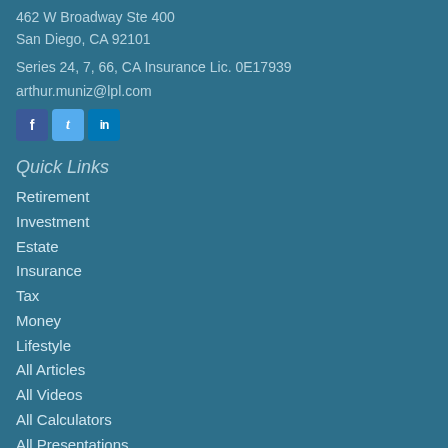462 W Broadway Ste 400
San Diego, CA 92101
Series 24, 7, 66, CA Insurance Lic. 0E17939
arthur.muniz@lpl.com
[Figure (logo): Social media icons for Facebook, Twitter, and LinkedIn]
Quick Links
Retirement
Investment
Estate
Insurance
Tax
Money
Lifestyle
All Articles
All Videos
All Calculators
All Presentations